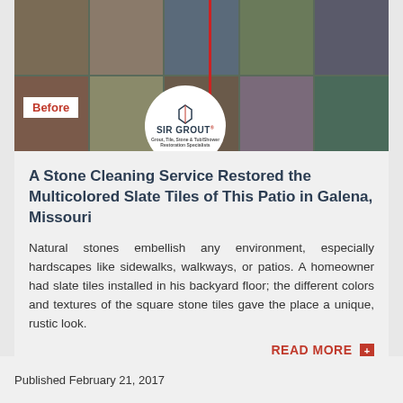[Figure (photo): Before/after photo of multicolored slate tile patio with Sir Grout logo circle overlay and 'Before' badge label]
A Stone Cleaning Service Restored the Multicolored Slate Tiles of This Patio in Galena, Missouri
Natural stones embellish any environment, especially hardscapes like sidewalks, walkways, or patios. A homeowner had slate tiles installed in his backyard floor; the different colors and textures of the square stone tiles gave the place a unique, rustic look.
READ MORE
Published February 21, 2017